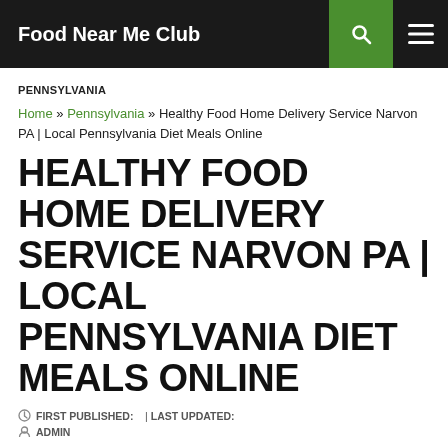Food Near Me Club
PENNSYLVANIA
Home » Pennsylvania » Healthy Food Home Delivery Service Narvon PA | Local Pennsylvania Diet Meals Online
HEALTHY FOOD HOME DELIVERY SERVICE NARVON PA | LOCAL PENNSYLVANIA DIET MEALS ONLINE
FIRST PUBLISHED:    | LAST UPDATED:
ADMIN